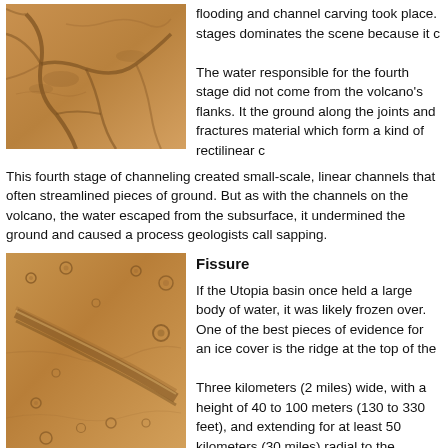[Figure (photo): Close-up photo of a Mars surface showing cracked, channeled terrain in sandy/ochre tones with linear grooves and fractures.]
flooding and channel carving took place. stages dominates the scene because it c
The water responsible for the fourth stage did not come from the volcano's flanks. It the ground along the joints and fractures material which form a kind of rectilinear c
This fourth stage of channeling created small-scale, linear channels that often streamlined pieces of ground. But as with the channels on the volcano, the water escaped from the subsurface, it undermined the ground and caused a process geologists call sapping.
[Figure (photo): Photo of Mars surface showing a large diagonal ridge or fissure feature with scattered circular pits/craters on a sandy ochre terrain.]
Fissure
If the Utopia basin once held a large body of water, it was likely frozen over. One of the best pieces of evidence for an ice cover is the ridge at the top of the
Three kilometers (2 miles) wide, with a height of 40 to 100 meters (130 to 330 feet), and extending for at least 50 kilometers (30 miles) radial to the volcano, it looks at first glance like just another channel. It's only by studying the lighting closely that it becomes plain
not negative.